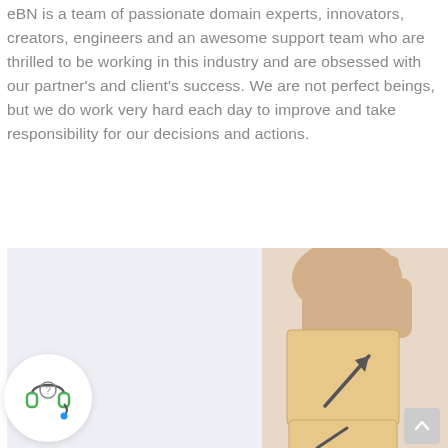eBN is a team of passionate domain experts, innovators, creators, engineers and an awesome support team who are thrilled to be working in this industry and are obsessed with our partner's and client's success. We are not perfect beings, but we do work very hard each day to improve and take responsibility for our decisions and actions.
[Figure (photo): A hand placing wooden blocks with an upward arrow symbol on top of each other, suggesting growth or progress. The background is light/white. On the left side there is a support/headset icon in a white circle. Bottom right has a scroll-to-top button.]